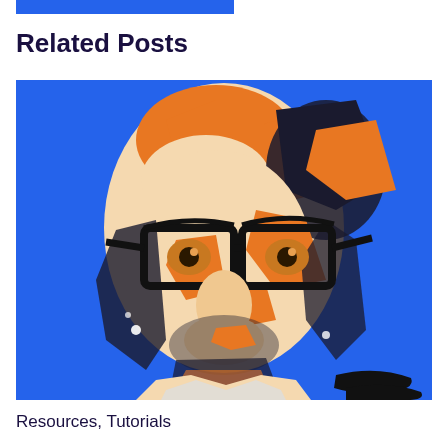[Figure (illustration): Blue horizontal bar at top of page]
Related Posts
[Figure (illustration): Pop-art style portrait illustration of a bald man with glasses, rendered in blue, orange, and black colors on a bright blue background]
Resources, Tutorials